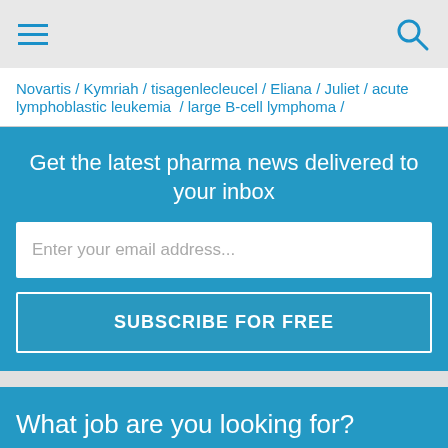Navigation header with hamburger menu and search icon
Novartis / Kymriah / tisagenlecleucel / Eliana / Juliet / acute lymphoblastic leukemia / large B-cell lymphoma /
Get the latest pharma news delivered to your inbox
Enter your email address...
SUBSCRIBE FOR FREE
What job are you looking for?
Job title, keywords or company